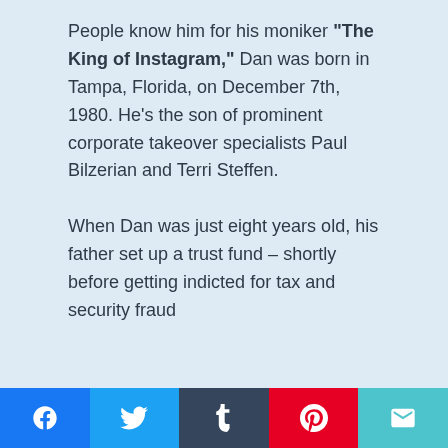People know him for his moniker "The King of Instagram," Dan was born in Tampa, Florida, on December 7th, 1980. He's the son of prominent corporate takeover specialists Paul Bilzerian and Terri Steffen.
When Dan was just eight years old, his father set up a trust fund – shortly before getting indicted for tax and security fraud